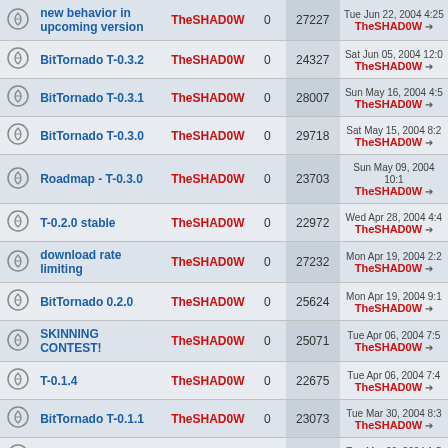|  | Topic | Author | Replies | Views | Last Post |
| --- | --- | --- | --- | --- | --- |
| [icon] | new behavior in upcoming version | TheSHAD0W | 0 | 27227 | Tue Jun 22, 2004 4:25 TheSHAD0W → |
| [icon] | BitTornado T-0.3.2 | TheSHAD0W | 0 | 24327 | Sat Jun 05, 2004 12:0 TheSHAD0W → |
| [icon] | BitTornado T-0.3.1 | TheSHAD0W | 0 | 28007 | Sun May 16, 2004 4:5 TheSHAD0W → |
| [icon] | BitTornado T-0.3.0 | TheSHAD0W | 0 | 29718 | Sat May 15, 2004 8:2 TheSHAD0W → |
| [icon] | Roadmap - T-0.3.0 | TheSHAD0W | 0 | 23703 | Sun May 09, 2004 10:1 TheSHAD0W → |
| [icon] | T-0.2.0 stable | TheSHAD0W | 0 | 22972 | Wed Apr 28, 2004 4:4 TheSHAD0W → |
| [icon] | download rate limiting | TheSHAD0W | 0 | 27232 | Mon Apr 19, 2004 2:2 TheSHAD0W → |
| [icon] | BitTornado 0.2.0 | TheSHAD0W | 0 | 25624 | Mon Apr 19, 2004 9:1 TheSHAD0W → |
| [icon] | SKINNING CONTEST! | TheSHAD0W | 0 | 25071 | Tue Apr 06, 2004 7:5 TheSHAD0W → |
| [icon] | T-0.1.4 | TheSHAD0W | 0 | 22675 | Tue Apr 06, 2004 7:4 TheSHAD0W → |
| [icon] | BitTornado T-0.1.1 | TheSHAD0W | 0 | 23073 | Tue Mar 30, 2004 8:3 TheSHAD0W → |
| [icon] | BitTornado T-0.1.0 | TheSHAD0W | 0 | 21716 | Tue Mar 30, 2004 1:5 TheSHAD0W → |